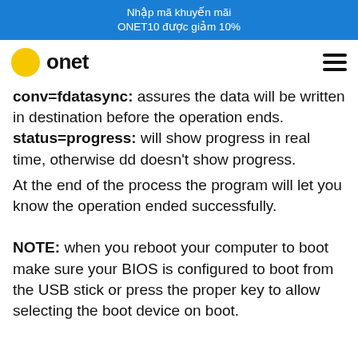Nhập mã khuyến mãi ONET10 được giảm 10%
[Figure (logo): Onet logo with yellow circle and bold text 'onet']
conv=fdatasync: assures the data will be written in destination before the operation ends. status=progress: will show progress in real time, otherwise dd doesn't show progress.
At the end of the process the program will let you know the operation ended successfully.
NOTE: when you reboot your computer to boot make sure your BIOS is configured to boot from the USB stick or press the proper key to allow selecting the boot device on boot.